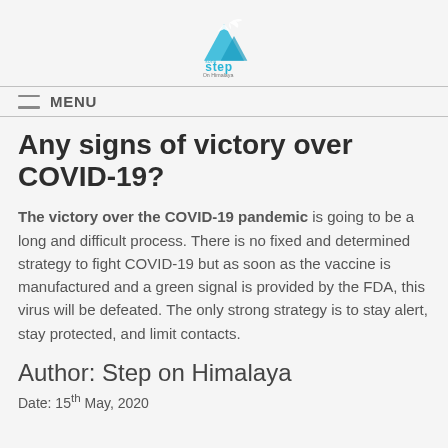[Figure (logo): Step on Himalaya logo with mountain and bird graphic in blue tones]
MENU
Any signs of victory over COVID-19?
The victory over the COVID-19 pandemic is going to be a long and difficult process. There is no fixed and determined strategy to fight COVID-19 but as soon as the vaccine is manufactured and a green signal is provided by the FDA, this virus will be defeated. The only strong strategy is to stay alert, stay protected, and limit contacts.
Author: Step on Himalaya
Date: 15th May, 2020